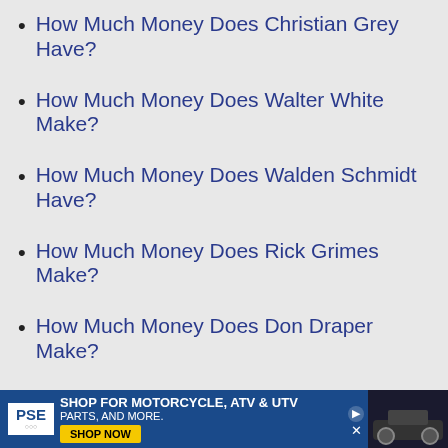How Much Money Does Christian Grey Have?
How Much Money Does Walter White Make?
How Much Money Does Walden Schmidt Have?
How Much Money Does Rick Grimes Make?
How Much Money Does Don Draper Make?
How Much Money Does Gus Fring Make?
[Figure (other): Advertisement banner for PSE motorcycle, ATV and UTV parts with Shop Now button]